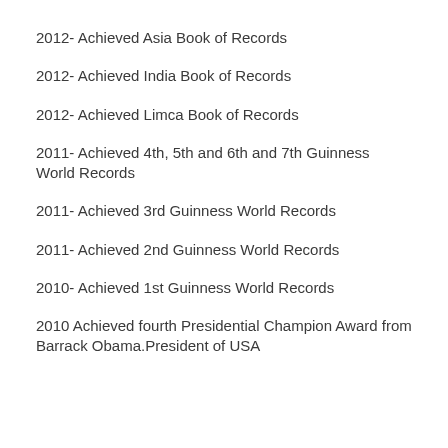2012- Achieved Asia Book of Records
2012- Achieved India Book of Records
2012- Achieved Limca Book of Records
2011- Achieved 4th, 5th and 6th and 7th Guinness World Records
2011- Achieved 3rd Guinness World Records
2011- Achieved 2nd Guinness World Records
2010- Achieved 1st Guinness World Records
2010 Achieved fourth Presidential Champion Award from Barrack Obama.President of USA